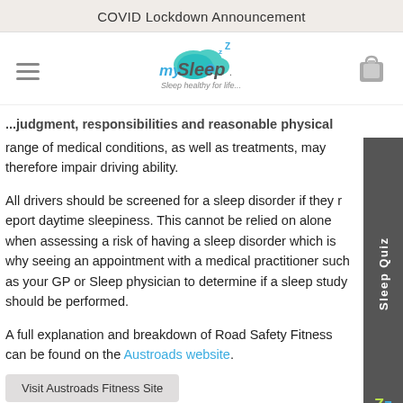COVID Lockdown Announcement
[Figure (logo): mySleep logo with tagline 'Sleep healthy for life...' and sleep cloud icon with Zzz]
...judgment, responsibilities and reasonable physical capabilities. A range of medical conditions, as well as treatments, may therefore impair driving ability.
All drivers should be screened for a sleep disorder if they report daytime sleepiness. This cannot be relied on alone when assessing a risk of having a sleep disorder which is why seeing an appointment with a medical practitioner such as your GP or Sleep physician to determine if a sleep study should be performed.
A full explanation and breakdown of Road Safety Fitness can be found on the Austroads website.
Visit Austroads Fitness Site